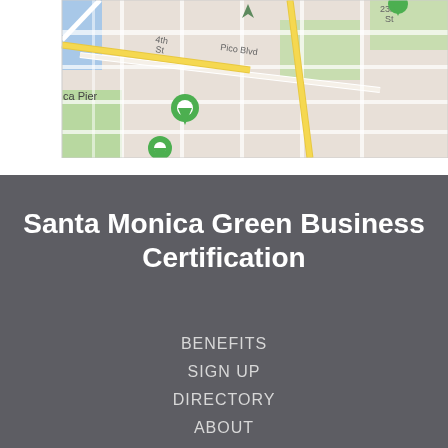[Figure (map): Google Maps view of Santa Monica area showing streets including Pico Blvd, 4th St, 23rd St, and Santa Monica Pier location with green map pins]
Santa Monica Green Business Certification
BENEFITS
SIGN UP
DIRECTORY
ABOUT
CONTACT